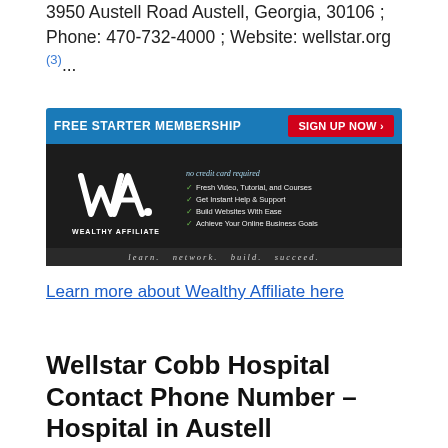3950 Austell Road Austell, Georgia, 30106 ; Phone: 470-732-4000 ; Website: wellstar.org (3)...
[Figure (illustration): Wealthy Affiliate advertisement banner with blue top bar showing 'FREE STARTER MEMBERSHIP' and red 'SIGN UP NOW' button. Dark body with WA logo on left and checklist of benefits on right. Tagline: learn. network. build. succeed.]
Learn more about Wealthy Affiliate here
Wellstar Cobb Hospital Contact Phone Number – Hospital in Austell